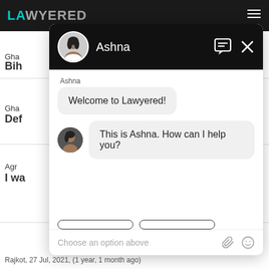[Figure (screenshot): Lawyered website with chat widget open. Chat agent named Ashna. Messages: 'Welcome to Lawyered!' and 'This is Ashna. How can I help you?' with quick reply buttons and input field showing 'Choose an option above'.]
Rajkot, 27 Jul, 2021, (1 year, 1 month ago)